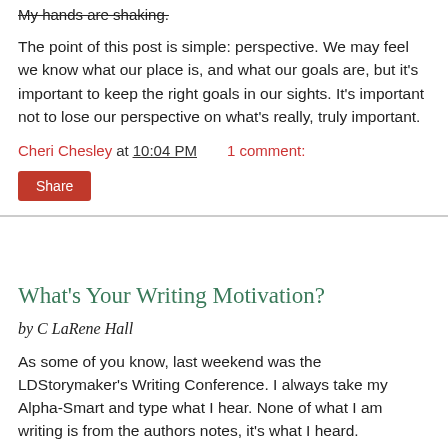My hands are shaking.
The point of this post is simple: perspective. We may feel we know what our place is, and what our goals are, but it's important to keep the right goals in our sights. It's important not to lose our perspective on what's really, truly important.
Cheri Chesley at 10:04 PM   1 comment:
Share
What's Your Writing Motivation?
by C LaRene Hall
As some of you know, last weekend was the LDStorymaker's Writing Conference. I always take my Alpha-Smart and type what I hear. None of what I am writing is from the authors notes, it's what I heard.
Shirley & Bron Bahlmann taught the first workshop I attended. It was called, “What's your writing motivation?”